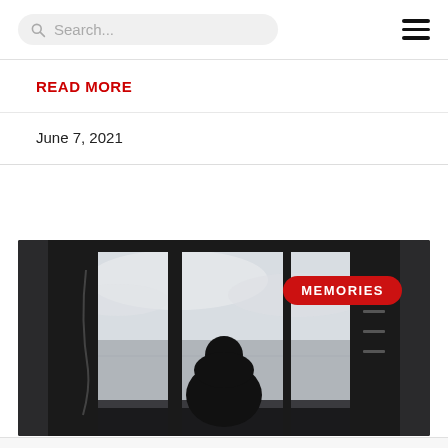Search... [hamburger menu]
READ MORE
June 7, 2021
[Figure (photo): A person in dark clothing sitting silhouetted against a large framed window or opening, looking out at an overcast sea or ocean horizon. The scene is dark and moody with grey tones. A red badge reads 'MEMORIES' overlaid in the upper right of the image.]